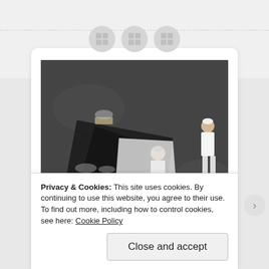[Figure (photo): Aerial photograph of people on a flooded rooftop or wet asphalt surface, with text written on the ground reading 'The Water Is R...' (partially cut off). People are standing and lying down, with an American flag and dark fabric visible. Black and white/muted tones.]
Privacy & Cookies: This site uses cookies. By continuing to use this website, you agree to their use.
To find out more, including how to control cookies, see here: Cookie Policy
Close and accept